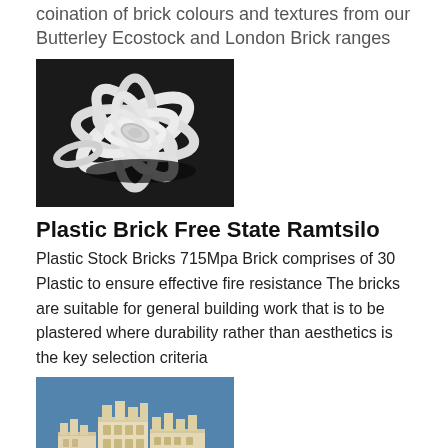coination of brick colours and textures from our Butterley Ecostock and London Brick ranges
[Figure (photo): Black and white photo of a white rose-like sculptural form on a dark background]
Plastic Brick Free State Ramtsilo
Plastic Stock Bricks 715Mpa Brick comprises of 30 Plastic to ensure effective fire resistance The bricks are suitable for general building work that is to be plastered where durability rather than aesthetics is the key selection criteria
[Figure (photo): Photo of a pale beige/cream architectural scale model of a building with detailed facade elements, against a blue background]